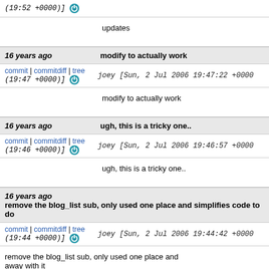(19:52 +0000)]
updates
16 years ago  modify to actually work
commit | commitdiff | tree  joey [Sun, 2 Jul 2006 19:47:22 +0000 (19:47 +0000)]
modify to actually work
16 years ago  ugh, this is a tricky one..
commit | commitdiff | tree  joey [Sun, 2 Jul 2006 19:46:57 +0000 (19:46 +0000)]
ugh, this is a tricky one..
16 years ago  remove the blog_list sub, only used one place and simplifies code to do
commit | commitdiff | tree  joey [Sun, 2 Jul 2006 19:44:42 +0000 (19:44 +0000)]
remove the blog_list sub, only used one place and away with it